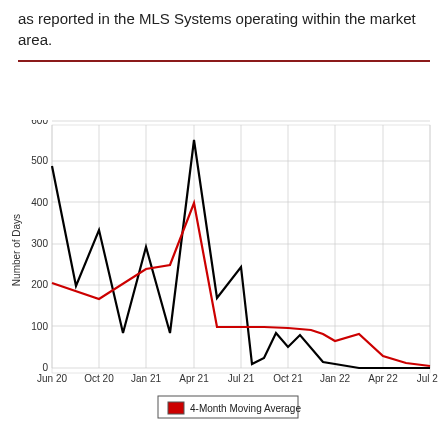as reported in the MLS Systems operating within the market area.
[Figure (line-chart): ]